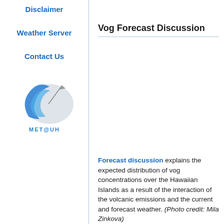Disclaimer
Weather Server
Contact Us
[Figure (logo): MET@UH logo — stylized blue and grey swirl/hurricane icon with the text MET@UH below]
Vog Forecast Discussion
Forecast discussion explains the expected distribution of vog concentrations over the Hawaiian Islands as a result of the interaction of the volcanic emissions and the current and forecast weather. (Photo credit: Mila Zinkova)